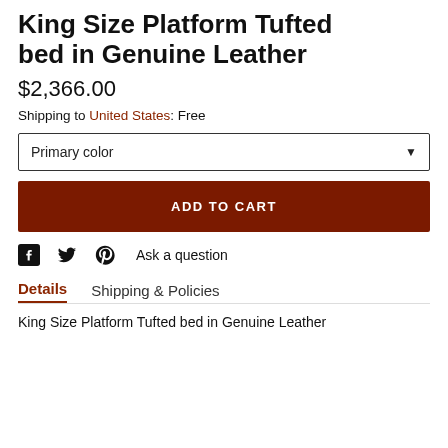King Size Platform Tufted bed in Genuine Leather
$2,366.00
Shipping to United States: Free
Primary color
ADD TO CART
Ask a question
Details
Shipping & Policies
King Size Platform Tufted bed in Genuine Leather